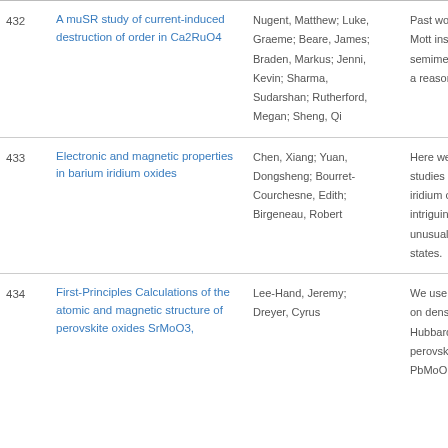| # | Title | Authors | Abstract |
| --- | --- | --- | --- |
| 432 | A muSR study of current-induced destruction of order in Ca2RuO4 | Nugent, Matthew; Luke, Graeme; Beare, James; Braden, Markus; Jenni, Kevin; Sharma, Sudarshan; Rutherford, Megan; Sheng, Qi | Past work h Mott insula semimetalli a reasonab |
| 433 | Electronic and magnetic properties in barium iridium oxides | Chen, Xiang; Yuan, Dongsheng; Bourret-Courchesne, Edith; Birgeneau, Robert | Here we intr studies on t iridium oxic intriguing s unusual ele states. |
| 434 | First-Principles Calculations of the atomic and magnetic structure of perovskite oxides SrMoO3, | Lee-Hand, Jeremy; Dreyer, Cyrus | We use first on density-f Hubbard U perovskite n PbMoO 3 |